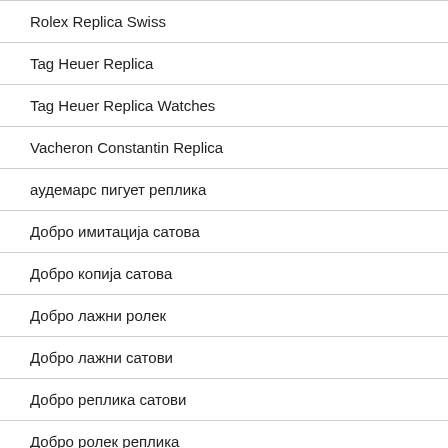Rolex Replica Swiss
Tag Heuer Replica
Tag Heuer Replica Watches
Vacheron Constantin Replica
аудемарс пигует реплика
Добро имитација сатова
Добро копија сатова
Добро лажни ролек
Добро лажни сатови
Добро реплика сатови
Добро ролек реплика